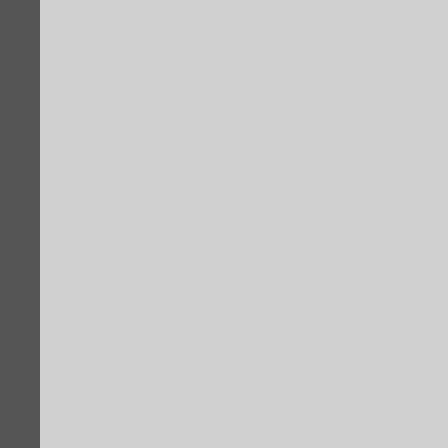[Figure (photo): Gray left sidebar panel]
[Figure (photo): Top partial photo showing dark clothing/person, cropped at top of page]
ORDER ORL…
[Figure (photo): Photo of man in wheelchair with blue sash/medal in ornate room with Polish flags, standing man beside him — ORDER ORŁA award ceremony]
ODZN. ORDE…
[Figure (photo): Photo of men walking on red carpet outdoors, military escort visible]